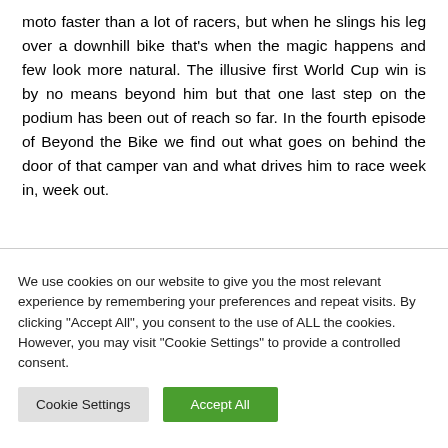moto faster than a lot of racers, but when he slings his leg over a downhill bike that's when the magic happens and few look more natural. The illusive first World Cup win is by no means beyond him but that one last step on the podium has been out of reach so far. In the fourth episode of Beyond the Bike we find out what goes on behind the door of that camper van and what drives him to race week in, week out.
We use cookies on our website to give you the most relevant experience by remembering your preferences and repeat visits. By clicking "Accept All", you consent to the use of ALL the cookies. However, you may visit "Cookie Settings" to provide a controlled consent.